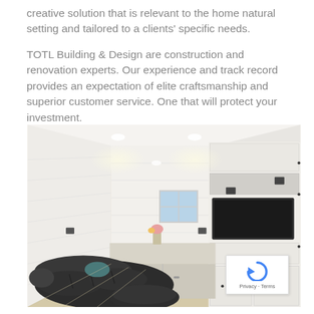creative solution that is relevant to the home natural setting and tailored to a clients' specific needs.

TOTL Building & Design are construction and renovation experts. Our experience and track record provides an expectation of elite craftsmanship and superior customer service. One that will protect your investment.
[Figure (photo): Interior photo of a renovated basement room featuring white shiplap walls, built-in white cabinetry with a TV unit on the right, a dark leather sectional sofa and ottoman on the left, recessed lighting, and a small window in the background.]